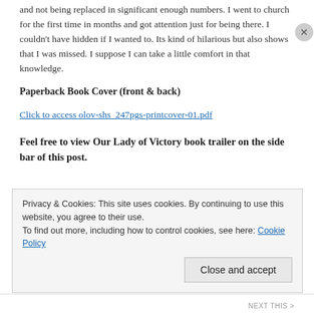and not being replaced in significant enough numbers. I went to church for the first time in months and got attention just for being there. I couldn't have hidden if I wanted to. Its kind of hilarious but also shows that I was missed. I suppose I can take a little comfort in that knowledge.
Paperback Book Cover (front & back)
Click to access olov-shs_247pgs-printcover-01.pdf
Feel free to view Our Lady of Victory book trailer on the side bar of this post.
Privacy & Cookies: This site uses cookies. By continuing to use this website, you agree to their use.
To find out more, including how to control cookies, see here: Cookie Policy